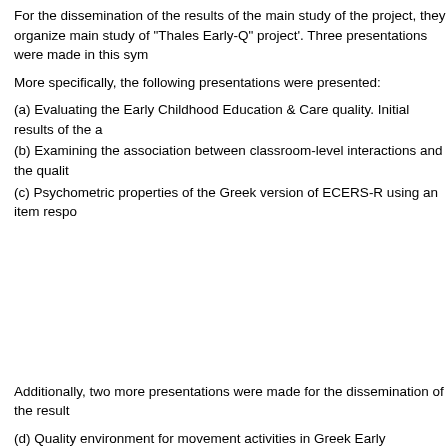For the dissemination of the results of the main study of the project, they organize main study of “Thales Early-Q” project’. Three presentations were made in this sym
More specifically, the following presentations were presented:
(a) Evaluating the Early Childhood Education & Care quality. Initial results of the a
(b) Examining the association between classroom-level interactions and the qualit
(c) Psychometric properties of the Greek version of ECERS-R using an item respo
Additionally, two more presentations were made for the dissemination of the result
(d) Quality environment for movement activities in Greek Early Childhood Educatio
(e) Quality in Early Childhood Education and Care Environments: A comparison be
In the following link you can also find the program and the conference proceedings